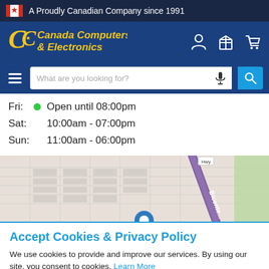A Proudly Canadian Company since 1991
[Figure (screenshot): Canada Computers & Electronics logo with stylized CC and maple leaf in yellow/gold on blue background]
[Figure (screenshot): Navigation search bar with hamburger menu, search field placeholder 'What are you looking for?', microphone icon, and blue search button]
Fri: Open until 08:00pm
Sat: 10:00am - 07:00pm
Sun: 11:00am - 06:00pm
[Figure (map): Street map showing Bicentennial road/path in purple, with grid of streets and green area to the right. Blue location marker visible at bottom.]
Accept Cookies & Privacy Policy
We use cookies to provide and improve our services. By using our site, you consent to cookies. Learn More
Close